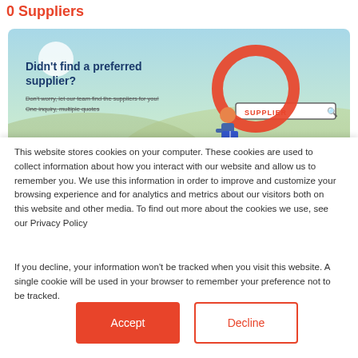0 Suppliers
[Figure (illustration): Promotional banner showing 'Didn't find a preferred supplier?' with a person holding a book and a large magnifying glass over a search bar labeled SUPPLIER, set against a light blue/green landscape background.]
This website stores cookies on your computer. These cookies are used to collect information about how you interact with our website and allow us to remember you. We use this information in order to improve and customize your browsing experience and for analytics and metrics about our visitors both on this website and other media. To find out more about the cookies we use, see our Privacy Policy
If you decline, your information won't be tracked when you visit this website. A single cookie will be used in your browser to remember your preference not to be tracked.
Accept
Decline